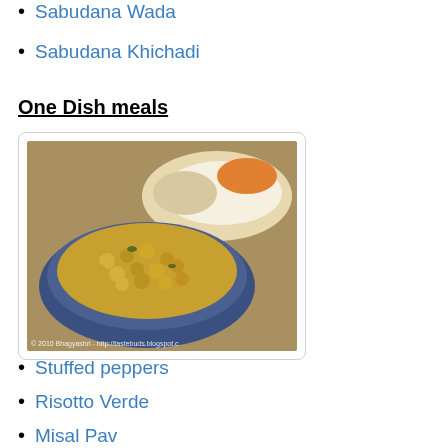Sabudana Wada
Sabudana Khichadi
One Dish meals
[Figure (photo): A bowl of yellow curry-like dish (Sabudana Khichadi) in a blue and white patterned bowl, with bread and orange garnish in the background. Watermark: © 2010 Bhagyashri - http://tastebuds.blogspot.c]
Stuffed peppers
Risotto Verde
Misal Pav
Khichadi Kadhi
Roasted Red Pepper & Potato Soup...